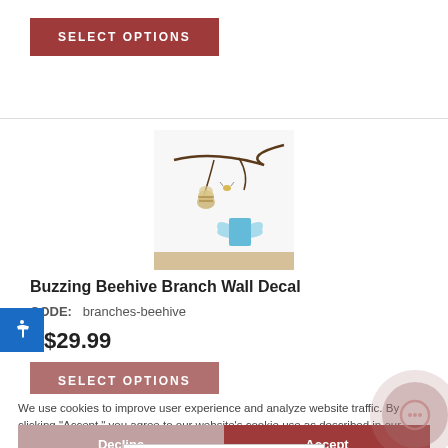SELECT OPTIONS
[Figure (photo): Wall decal product photo showing branch with beehive and blue butterfly/bird on white wall above wooden floor]
Buzzing Beehive Branch Wall Decal
CODE:   branches-beehive
$29.99
SELECT OPTIONS
We use cookies to improve user experience and analyze website traffic. By clicking "Accept," you agree to our website's cookie use as described in our Cookie Policy. You can change your cookie settings at any time by clicking "Preferences."
Decline
Accept
Canary Flower Branch Wall Decal
CODE:   branches-canary-flower-branch
Preferences